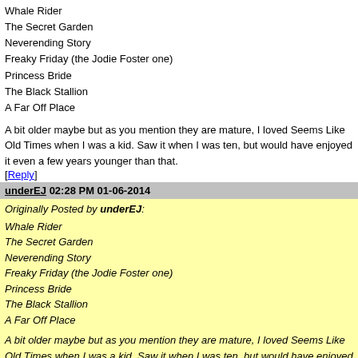Whale Rider
The Secret Garden
Neverending Story
Freaky Friday (the Jodie Foster one)
Princess Bride
The Black Stallion
A Far Off Place
A bit older maybe but as you mention they are mature, I loved Seems Like Old Times when I was a kid. Saw it when I was ten, but would have enjoyed it even a few years younger than that.
[Reply]
underEJ 02:28 PM 01-06-2014
Originally Posted by underEJ:
Whale Rider
The Secret Garden
Neverending Story
Freaky Friday (the Jodie Foster one)
Princess Bride
The Black Stallion
A Far Off Place

A bit older maybe but as you mention they are mature, I loved Seems Like Old Times when I was a kid. Saw it when I was ten, but would have enjoyed it even a few years younger than that.
I forgot Amy (1981.) Wasn't available for a long time, but Disney rereleased it a year or so ago.
[Reply]